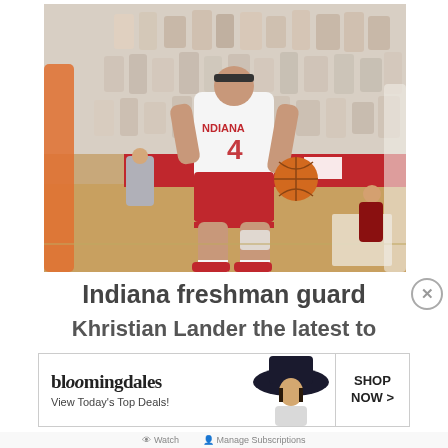[Figure (photo): Indiana basketball player number 4 in white and red uniform dribbling a basketball on an indoor court. The player is in a crouched athletic stance. Background shows cardboard fan cutouts in the stands and a red arena banner. An out-of-focus orange-uniformed player is visible in the foreground left.]
Indiana freshman guard
Khristian Lander the latest to
[Figure (other): Bloomingdale's advertisement banner. Shows the Bloomingdale's logo, tagline 'View Today's Top Deals!', a woman in a large brimmed hat, and a 'SHOP NOW >' button.]